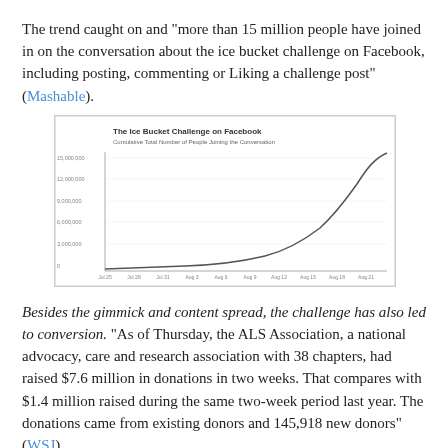The trend caught on and "more than 15 million people have joined in on the conversation about the ice bucket challenge on Facebook, including posting, commenting or Liking a challenge post" (Mashable).
[Figure (continuous-plot): Exponential growth line chart showing cumulative number of people joining the conversation on Facebook over time, starting flat and rising sharply at the end.]
Besides the gimmick and content spread, the challenge has also led to conversion. "As of Thursday, the ALS Association, a national advocacy, care and research association with 38 chapters, had raised $7.6 million in donations in two weeks. That compares with $1.4 million raised during the same two-week period last year. The donations came from existing donors and 145,918 new donors" (WSJ)